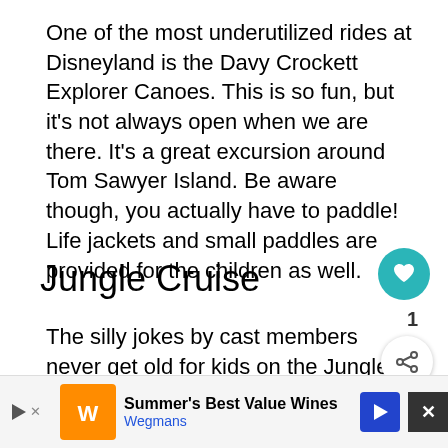One of the most underutilized rides at Disneyland is the Davy Crockett Explorer Canoes. This is so fun, but it's not always open when we are there. It's a great excursion around Tom Sawyer Island. Be aware though, you actually have to paddle! Life jackets and small paddles are provided for the children as well.
Jungle Cruise
The silly jokes by cast members never get old for kids on the Jungle Cruise, which is a great Disneyland ride for toddlers. It takes you through a jungle with (electronic?)